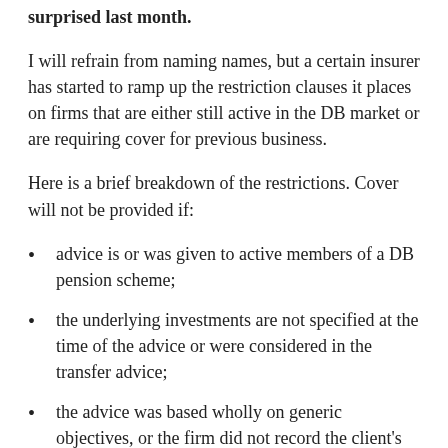to defined benefit (DB) transfer advice, but even we were surprised last month.
I will refrain from naming names, but a certain insurer has started to ramp up the restriction clauses it places on firms that are either still active in the DB market or are requiring cover for previous business.
Here is a brief breakdown of the restrictions. Cover will not be provided if:
advice is or was given to active members of a DB pension scheme;
the underlying investments are not specified at the time of the advice or were considered in the transfer advice;
the advice was based wholly on generic objectives, or the firm did not record the client's objectives, future income needs, other investment and pension funds, or attitude to risk;